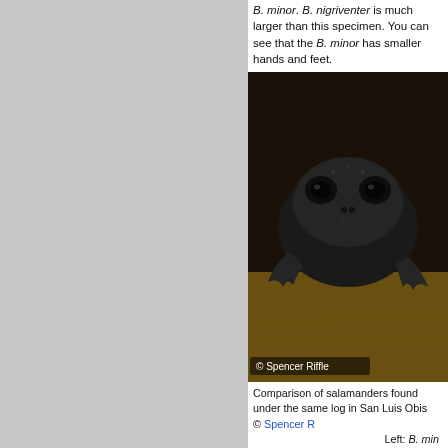B. minor. B. nigriventer is much larger than this specimen. You can see that the B. minor has smaller hands and feet.
[Figure (photo): Close-up photograph of a small dark salamander face viewed head-on, showing large eyes and moist skin texture. Photo credit: © Spencer Riffle]
Comparison of salamanders found under the same log in San Luis Obispo County. © Spencer Riffle
Left: B. minor
Right: B. nigriventer
[Figure (photo): Landscape photo of rolling green hills with a road in San Luis Obispo County, California.]